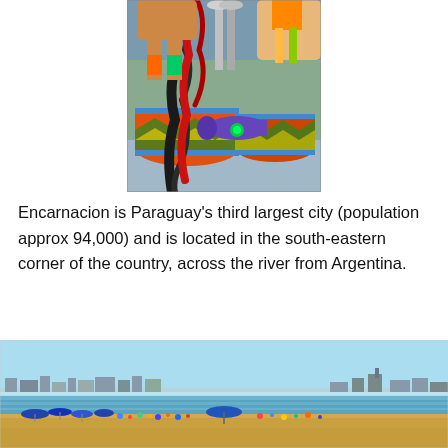[Figure (photo): Colorful carnival/festival scene with decorated drums and performers in costumes with feathers and bright colors (red, green, yellow, blue). Photo taken at what appears to be a parade or festival in Encarnacion, Paraguay.]
Encarnacion is Paraguay's third largest city (population approx 94,000) and is located in the south-eastern corner of the country, across the river from Argentina.
[Figure (photo): Beach scene with blue sky, sandy shore, people with umbrellas, and buildings visible along the waterfront in the distance. This appears to be a beach in Encarnacion, Paraguay on the river.]